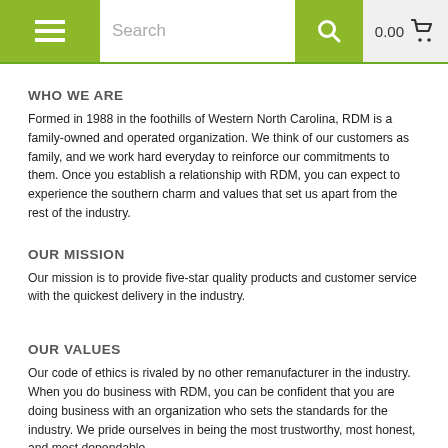Navigation bar with hamburger menu, search bar, search button, and cart (0.00)
WHO WE ARE
Formed in 1988 in the foothills of Western North Carolina, RDM is a family-owned and operated organization. We think of our customers as family, and we work hard everyday to reinforce our commitments to them. Once you establish a relationship with RDM, you can expect to experience the southern charm and values that set us apart from the rest of the industry.
OUR MISSION
Our mission is to provide five-star quality products and customer service with the quickest delivery in the industry.
OUR VALUES
Our code of ethics is rivaled by no other remanufacturer in the industry. When you do business with RDM, you can be confident that you are doing business with an organization who sets the standards for the industry. We pride ourselves in being the most trustworthy, most honest, and most dependable